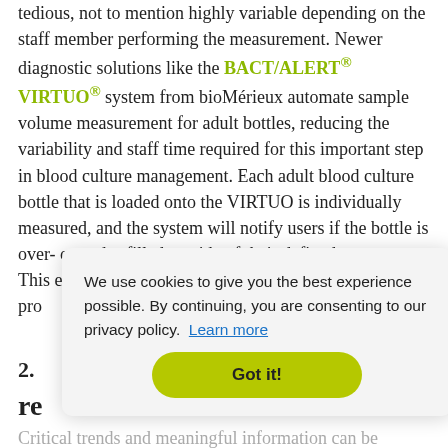tedious, not to mention highly variable depending on the staff member performing the measurement. Newer diagnostic solutions like the BACT/ALERT® VIRTUO® system from bioMérieux automate sample volume measurement for adult bottles, reducing the variability and staff time required for this important step in blood culture management. Each adult blood culture bottle that is loaded onto the VIRTUO is individually measured, and the system will notify users if the bottle is over- or under-filled outside of their defined parameters. This enables staff to take act[ion immediately...] pro[viding...]
2. re[...]
Critical trends and meaningful information can be
[Figure (other): Cookie consent modal dialog with text: 'We use cookies to give you the best experience possible. By continuing, you are consenting to our privacy policy. Learn more' and a 'Got it!' button.]